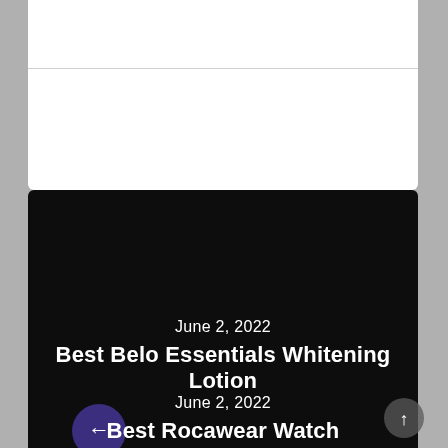June 2, 2022
Best Belo Essentials Whitening Lotion
June 2, 2022
Best Rocawear Watch